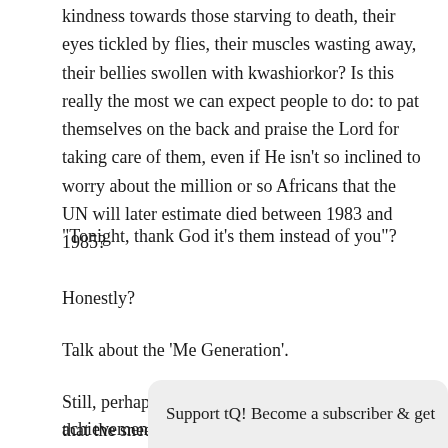kindness towards those starving to death, their eyes tickled by flies, their muscles wasting away, their bellies swollen with kwashiorkor? Is this really the most we can expect people to do: to pat themselves on the back and praise the Lord for taking care of them, even if He isn't so inclined to worry about the million or so Africans that the UN will later estimate died between 1983 and 1985?
"Tonight, thank God it’s them instead of you"?
Honestly?
Talk about the ‘Me Generation’.
Still, perhaps this was a minor lapse of judgement that the sneering classes should overlook. After all, there were always – and continue to be – cyni
achievemen
Support tQ! Become a subscriber & get